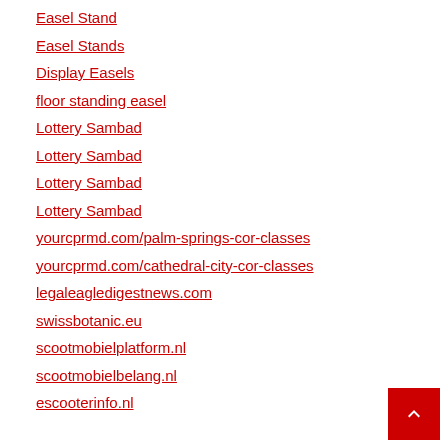Easel Stand
Easel Stands
Display Easels
floor standing easel
Lottery Sambad
Lottery Sambad
Lottery Sambad
Lottery Sambad
yourcprmd.com/palm-springs-cor-classes
yourcprmd.com/cathedral-city-cor-classes
legaleagledigestnews.com
swissbotanic.eu
scootmobielplatform.nl
scootmobielbelang.nl
escooterinfo.nl